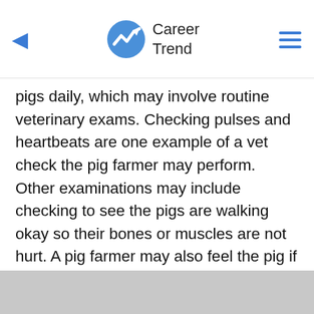Career Trend
pigs daily, which may involve routine veterinary exams. Checking pulses and heartbeats are one example of a vet check the pig farmer may perform. Other examinations may include checking to see the pigs are walking okay so their bones or muscles are not hurt. A pig farmer may also feel the pig if there any lumps on its body, a sign of tumors or cancer. Besides these checks, any visual sign the pig may be sick with a virus or bacterial infection is done by taking temperatures or blood samples.